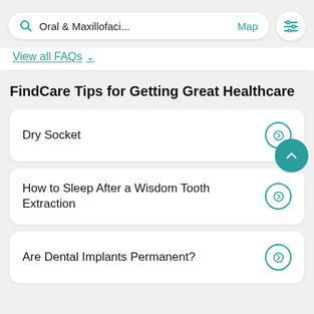[Figure (screenshot): Search bar with magnifying glass icon showing 'Oral & Maxillofaci...' text and 'Map' link, plus a filter/settings button]
View all FAQs ∨
FindCare Tips for Getting Great Healthcare
Dry Socket
How to Sleep After a Wisdom Tooth Extraction
Are Dental Implants Permanent?